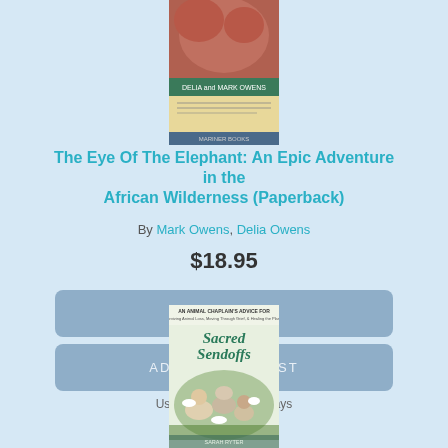[Figure (photo): Book cover of 'The Eye of the Elephant' by Delia and Mark Owens, showing an elephant close-up with a yellow/tan background]
The Eye Of The Elephant: An Epic Adventure in the African Wilderness (Paperback)
By Mark Owens, Delia Owens
$18.95
ADD TO CART
ADD TO WISH LIST
Usually Ships in 1-5 Days
[Figure (photo): Book cover of 'Sacred Sendoffs: An Animal Chaplain's Advice for Surviving Animal Loss, Moving through Grief, and Healing the Planet']